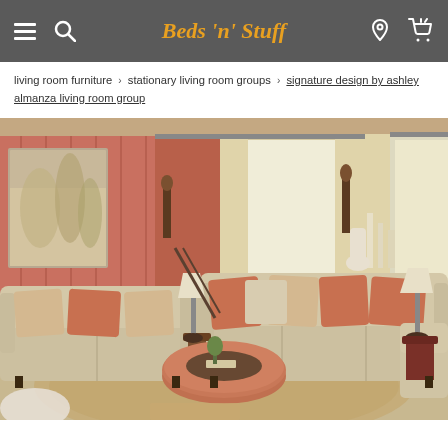Beds 'n' Stuff
living room furniture › stationary living room groups › signature design by ashley almanza living room group
[Figure (photo): A living room furniture set featuring beige sofas and loveseat with orange and floral accent pillows, a round terracotta ottoman as coffee table, a decorative rug, wall art, table lamps, and candles against a terracotta/brick red accent wall with curtains.]